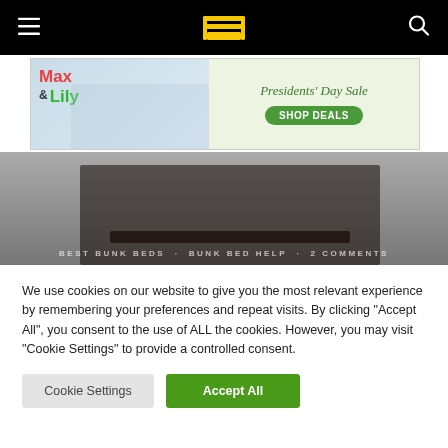Navigation header with hamburger menu, bunk bed help logo, and search icon
[Figure (photo): Max & Lily Presidents' Day Sale advertisement banner with children on bunk bed]
[Figure (photo): Hero image of a dark wooden bunk bed in a bedroom setting. Overlay text: BEST BUNK BEDS · BUNK BED HELP · 2 COMMENTS]
We use cookies on our website to give you the most relevant experience by remembering your preferences and repeat visits. By clicking "Accept All", you consent to the use of ALL the cookies. However, you may visit "Cookie Settings" to provide a controlled consent.
Cookie Settings | Accept All